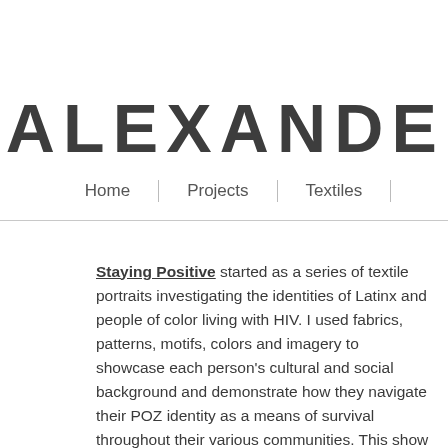ALEXANDER
Home | Projects | Textiles
Staying Positive started as a series of textile portraits investigating the identities of Latinx and people of color living with HIV. I used fabrics, patterns, motifs, colors and imagery to showcase each person's cultural and social background and demonstrate how they navigate their POZ identity as a means of survival throughout their various communities. This show aimed to dismantle the social stigmas of being POZ and demonstrates my community as survivors rather than victims. It was suppose to